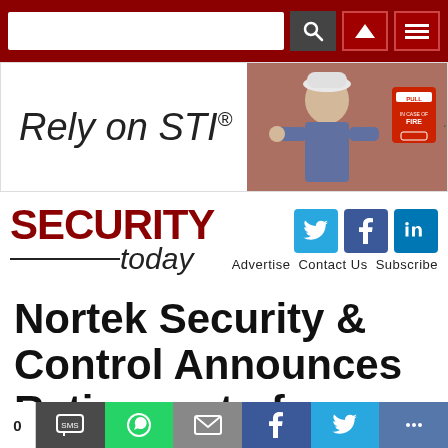Security Today website navigation bar with search box, up arrow, and menu icons
[Figure (photo): Advertisement banner: 'Rely on STI®' text on left, photo of person near fire alarm pull station on right]
SECURITY today — with Twitter, Facebook, LinkedIn social icons and Advertise, Contact Us, Subscribe links
Nortek Security & Control Announces Retirement of Industry Veteran Larry Foisie, Promotes Joe
Share bar with count 0, SMS, WhatsApp, Email, Facebook, Twitter, and more buttons